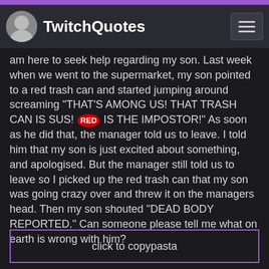TwitchQuotes
am here to seek help regarding my son. Last week when we went to the supermarket, my son pointed to a red trash can and started jumping around screaming "THAT'S AMONG US! THAT TRASH CAN IS SUS! (RED) IS THE IMPOSTOR!" As soon as he did that, the manager told us to leave. I told him that my son is just excited about something, and apologised. But the manager still told us to leave so I picked up the red trash can that my son was going crazy over and threw it on the managers head. Then my son shouted "DEAD BODY REPORTED." Can someone please tell me what on earth is wrong with him?
click to copypasta